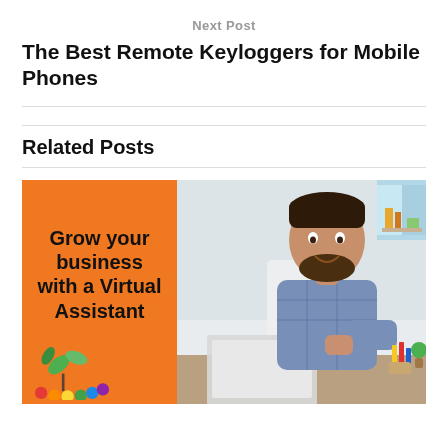Next Post
The Best Remote Keyloggers for Mobile Phones
Related Posts
[Figure (illustration): Promotional image split in two halves: left half is an orange panel with bold text 'Grow your business with a Virtual Assistant' and a colorful plant icon at the bottom; right half is a photo of a smiling bearded man in a blue checkered shirt working on a laptop and holding a coffee mug, in a bright office setting.]